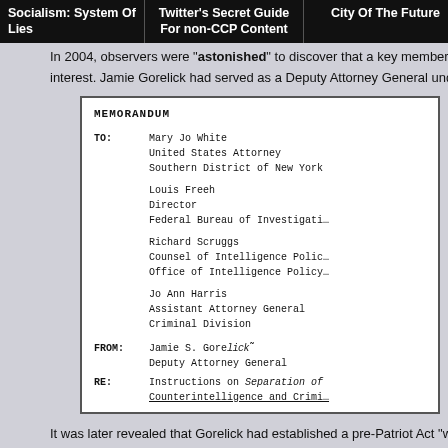Socialism: System Of Lies | Twitter's Secret Guide For non-CCP Content | City Of The Future
In 2004, observers were "astonished" to discover that a key member of th… interest. Jamie Gorelick had served as a Deputy Attorney General under
[Figure (other): Scanned memorandum document image. MEMORANDUM TO: Mary Jo White, United States Attorney, Southern District of New York; Louis Freeh, Director, Federal Bureau of Investigati…; Richard Scruggs, Counsel of Intelligence Polic…, Office of Intelligence Policy…; Jo Ann Harris, Assistant Attorney General, Criminal Division. FROM: Jamie S. Gorelick (with signature), Deputy Attorney General. RE: Instructions on Separation of Counterintelligence and Crimi…]
It was later revealed that Gorelick had established a pre-Patriot Act "wall" … criminal investigative communities from collaborating.
[Figure (other): Scanned document excerpt: the same sources and targets as the criminal … believe that it is prudent to establish a set… that will clearly separate the counterintelli… from the more limited, but continued, crimina… These procedures, which go beyond what is leg… prevent any risk of creating an unwarranted…]